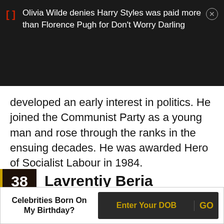Olivia Wilde denies Harry Styles was paid more than Florence Pugh for Don't Worry Darling
developed an early interest in politics. He joined the Communist Party as a young man and rose through the ranks in the ensuing decades. He was awarded Hero of Socialist Labour in 1984.
38 Lavrentiy Beria
(Russian Minister of Internal Affairs (1938-1953))
[Figure (photo): Black and white portrait photo of Lavrentiy Beria]
Celebrities Born On My Birthday? Enter Your DOB GO